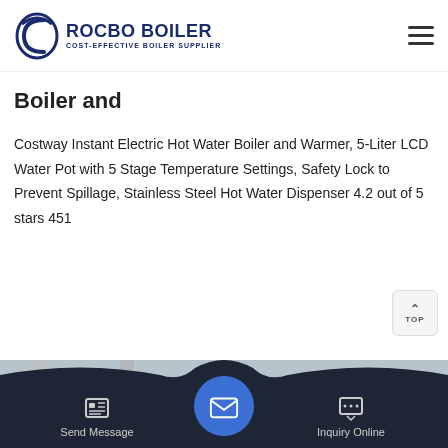ROCBO BOILER - COST-EFFECTIVE BOILER SUPPLIER
Boiler and
Costway Instant Electric Hot Water Boiler and Warmer, 5-Liter LCD Water Pot with 5 Stage Temperature Settings, Safety Lock to Prevent Spillage, Stainless Steel Hot Water Dispenser 4.2 out of 5 stars 451
[Figure (photo): Industrial boiler facility showing yellow pipes and metal structures]
Send Message | Inquiry Online